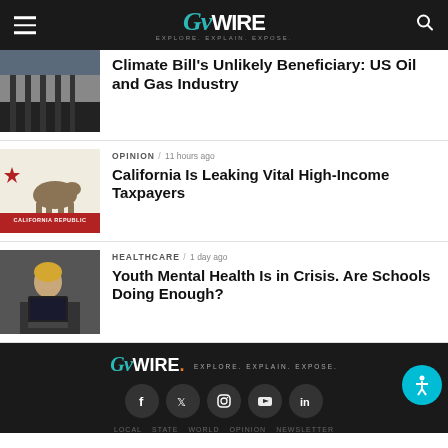GVWire - Explore. Explain. Expose.
Climate Bill's Unlikely Beneficiary: US Oil and Gas Industry
OPINION / 11 hours ago
California Is Leaking Vital High-Income Taxpayers
HEALTHCARE / 1 day ago
Youth Mental Health Is in Crisis. Are Schools Doing Enough?
GVWire. Explore. Explain. Expose. LOCAL STATE WORLD OPINION NEWSLETTER